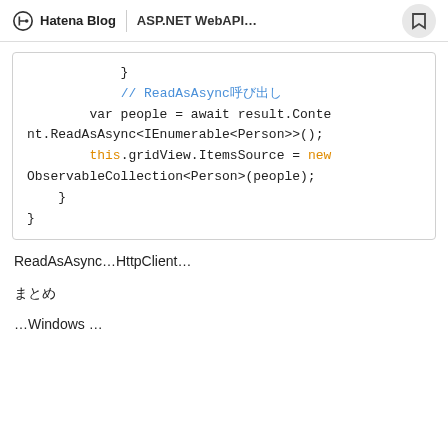Hatena Blog | ASP.NET WebAPI…
Code block showing: } // ReadAsAsync呼び出し var people = await result.Content.ReadAsAsync<IEnumerable<Person>>(); this.gridView.ItemsSource = new ObservableCollection<Person>(people); } }
ReadAsAsync…HttpClient…
まとめ
…Windows …